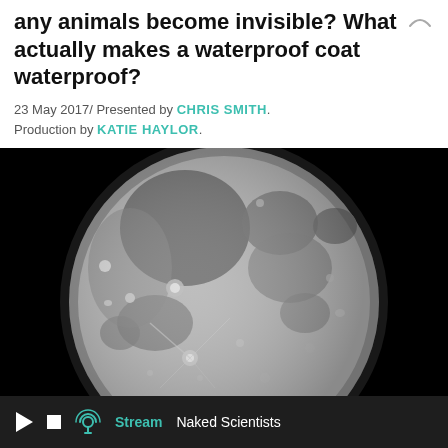any animals become invisible? What actually makes a waterproof coat waterproof?
23 May 2017/ Presented by CHRIS SMITH. Production by KATIE HAYLOR.
[Figure (photo): Black and white close-up photograph of the full moon showing craters and dark maria regions against black space background]
Stream   Naked Scientists